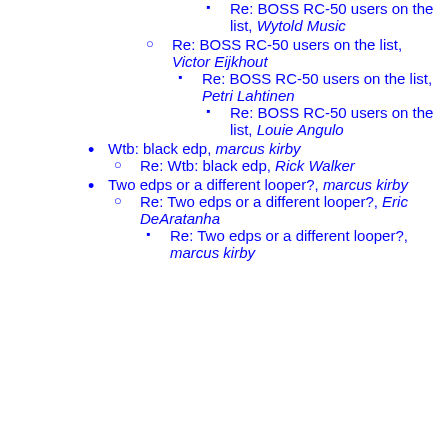Re: BOSS RC-50 users on the list, Wytold Music
Re: BOSS RC-50 users on the list, Victor Eijkhout
Re: BOSS RC-50 users on the list, Petri Lahtinen
Re: BOSS RC-50 users on the list, Louie Angulo
Wtb: black edp, marcus kirby
Re: Wtb: black edp, Rick Walker
Two edps or a different looper?, marcus kirby
Re: Two edps or a different looper?, Eric DeAratanha
Re: Two edps or a different looper?, marcus kirby